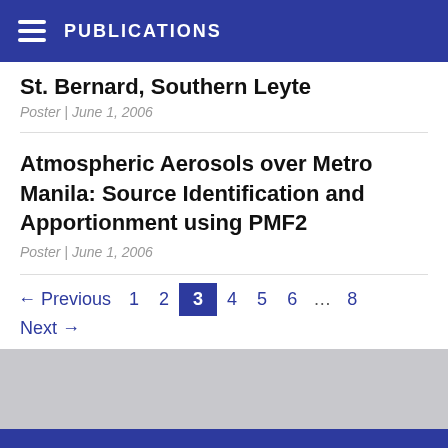PUBLICATIONS
St. Bernard, Southern Leyte
Poster | June 1, 2006
Atmospheric Aerosols over Metro Manila: Source Identification and Apportionment using PMF2
Poster | June 1, 2006
← Previous  1  2  3  4  5  6  ...  8  Next →
The Director
Manila Observatory
P.O. Box 122, UP Post Office
Diliman, Quezon City